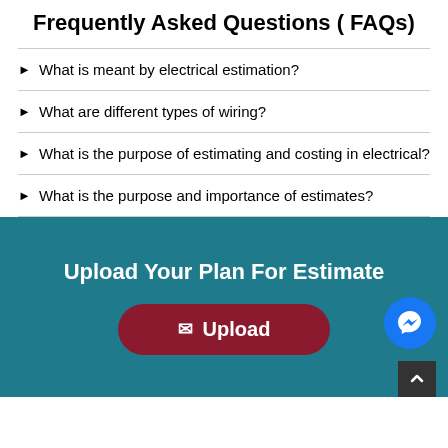Frequently Asked Questions ( FAQs)
What is meant by electrical estimation?
What are different types of wiring?
What is the purpose of estimating and costing in electrical?
What is the purpose and importance of estimates?
Upload Your Plan For Estimate
Upload